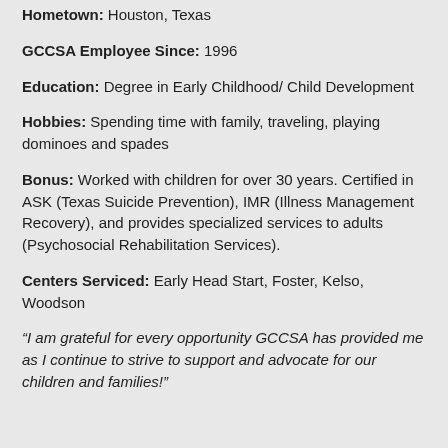Hometown: Houston, Texas
GCCSA Employee Since: 1996
Education: Degree in Early Childhood/ Child Development
Hobbies: Spending time with family, traveling, playing dominoes and spades
Bonus: Worked with children for over 30 years. Certified in ASK (Texas Suicide Prevention), IMR (Illness Management Recovery), and provides specialized services to adults (Psychosocial Rehabilitation Services).
Centers Serviced: Early Head Start, Foster, Kelso, Woodson
“I am grateful for every opportunity GCCSA has provided me as I continue to strive to support and advocate for our children and families!"